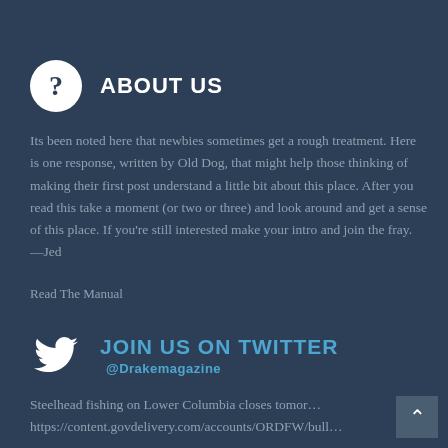ABOUT US
Its been noted here that newbies sometimes get a rough treatment. Here is one response, written by Old Dog, that might help those thinking of making their first post understand a little bit about this place. After you read this take a moment (or two or three) and look around and get a sense of this place. If you're still interested make your intro and join the fray. —Jed
Read The Manual
JOIN US ON TWITTER @Drakemagazine
Steelhead fishing on Lower Columbia closes tomorro… https://content.govdelivery.com/accounts/ORDFW/bull…